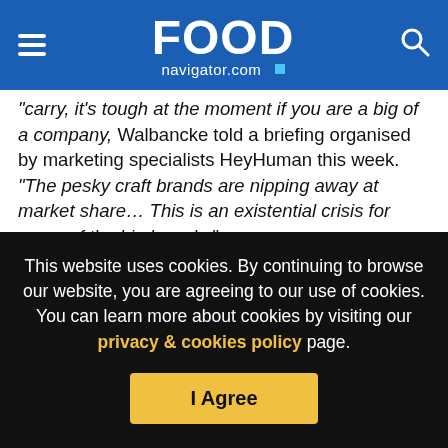FOOD navigator.com
…carry, it’s tough at the moment if you are a big of a company, Walbancke told a briefing organised by marketing specialists HeyHuman this week. “The pesky craft brands are nipping away at market share… This is an existential crisis for some of the big brands.”
Start-ups have some key advantages over large players, Walbancke continued. “They are lightning quick and they are really focused on consumer problems. How often have CPGs innovated in response to a problem they – not the consumer – confronted with filial du joisseur state down”
This website uses cookies. By continuing to browse our website, you are agreeing to our use of cookies. You can learn more about cookies by visiting our privacy & cookies policy page.
I Agree